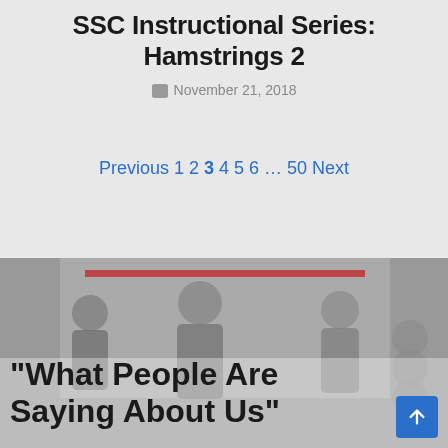SSC Instructional Series: Hamstrings 2
November 21, 2018
Previous 1 2 3 4 5 6 … 50 Next
[Figure (photo): People in a gym, semi-transparent overlay background]
"What People Are Saying About Us"